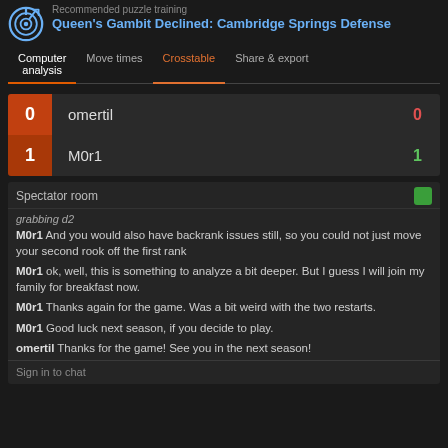Recommended puzzle training Queen's Gambit Declined: Cambridge Springs Defense
Computer analysis | Move times | Crosstable | Share & export
| Score | Player | Result |
| --- | --- | --- |
| 0 | omertil | 0 |
| 1 | M0r1 | 1 |
Spectator room
grabbing d2
M0r1  And you would also have backrank issues still, so you could not just move your second rook off the first rank
M0r1  ok, well, this is something to analyze a bit deeper. But I guess I will join my family for breakfast now.
M0r1  Thanks again for the game. Was a bit weird with the two restarts.
M0r1  Good luck next season, if you decide to play.
omertil  Thanks for the game! See you in the next season!
Sign in to chat